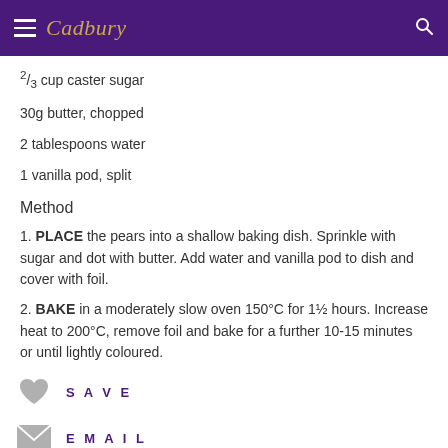Cadbury
⅔ cup caster sugar
30g butter, chopped
2 tablespoons water
1 vanilla pod, split
Method
1. PLACE the pears into a shallow baking dish. Sprinkle with sugar and dot with butter. Add water and vanilla pod to dish and cover with foil.
2. BAKE in a moderately slow oven 150°C for 1½ hours. Increase heat to 200°C, remove foil and bake for a further 10-15 minutes or until lightly coloured.
SAVE
EMAIL
SHARE